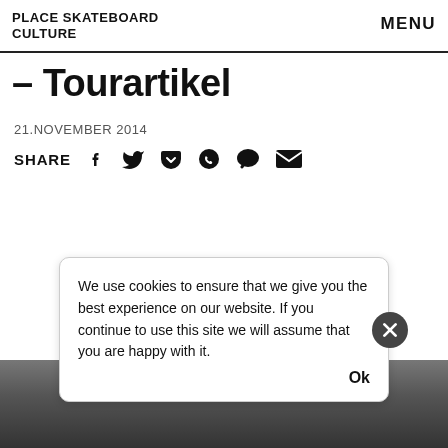PLACE SKATEBOARD CULTURE   MENU
– Tourartikel
21. NOVEMBER 2014
SHARE (social icons: Facebook, Twitter, Pocket, WhatsApp, Chat, Email)
[Figure (photo): Background street/city photograph at the bottom of the page in grayscale]
We use cookies to ensure that we give you the best experience on our website. If you continue to use this site we will assume that you are happy with it.  Ok